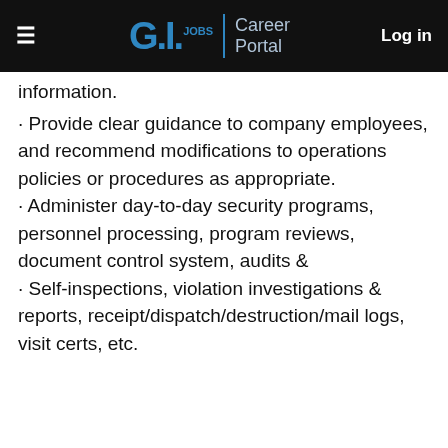G.I.JOBS | Career Portal  Log in
information.
· Provide clear guidance to company employees, and recommend modifications to operations policies or procedures as appropriate.
· Administer day-to-day security programs, personnel processing, program reviews, document control system, audits &
· Self-inspections, violation investigations & reports, receipt/dispatch/destruction/mail logs, visit certs, etc.